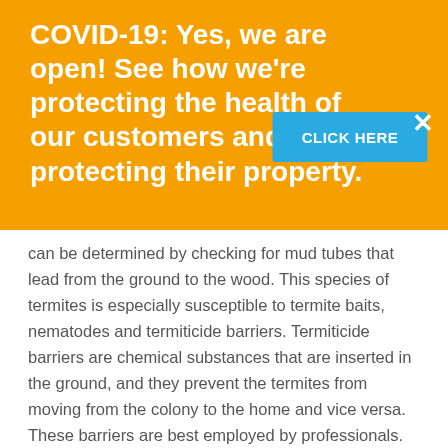COVID-19: Yes, we are open! See how we're protecting the health of our customers and protecting their property.
CLICK HERE
can be determined by checking for mud tubes that lead from the ground to the wood. This species of termites is especially susceptible to termite baits, nematodes and termiticide barriers. Termiticide barriers are chemical substances that are inserted in the ground, and they prevent the termites from moving from the colony to the home and vice versa. These barriers are best employed by professionals. Bait stations on the other hand can be used by anyone. They are placed inside holes in the ground, and they tempt termites to start foraging them. Once the termites take the poisoned bait back to the